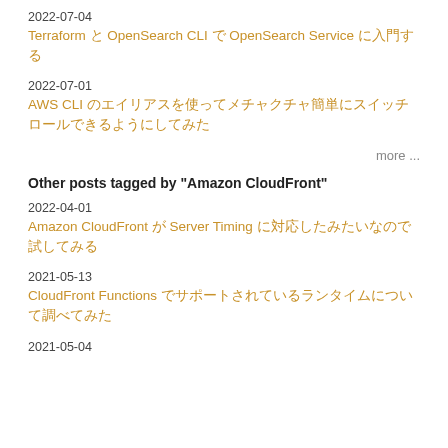2022-07-04
Terraform と OpenSearch CLI で OpenSearch Service に入門する
2022-07-01
AWS CLI のエイリアスを使ってメチャクチャ簡単にスイッチロールできるようにしてみた
more ...
Other posts tagged by "Amazon CloudFront"
2022-04-01
Amazon CloudFront が Server Timing に対応したみたいなので試してみる
2021-05-13
CloudFront Functions でサポートされているランタイムについて調べてみた
2021-05-04